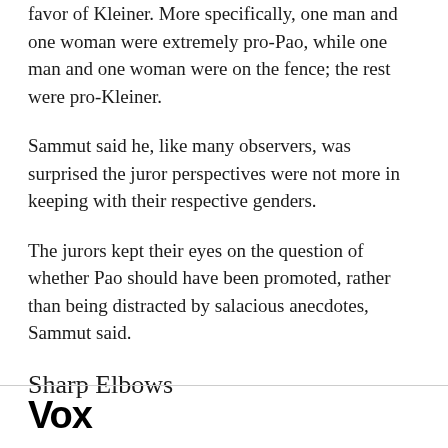favor of Kleiner. More specifically, one man and one woman were extremely pro-Pao, while one man and one woman were on the fence; the rest were pro-Kleiner.
Sammut said he, like many observers, was surprised the juror perspectives were not more in keeping with their respective genders.
The jurors kept their eyes on the question of whether Pao should have been promoted, rather than being distracted by salacious anecdotes, Sammut said.
Sharp Elbows
Vox